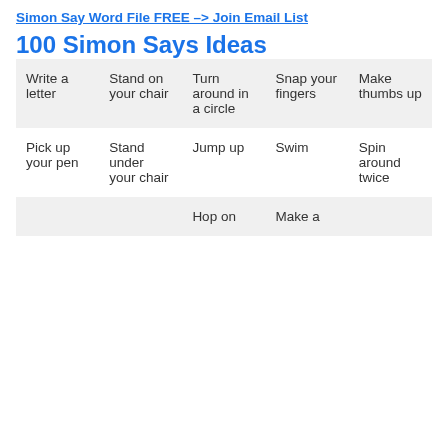Simon Say Word File FREE --> Join Email List
100 Simon Says Ideas
| Write a letter | Stand on your chair | Turn around in a circle | Snap your fingers | Make thumbs up |
| Pick up your pen | Stand under your chair | Jump up | Swim | Spin around twice |
|  |  | Hop on | Make a |  |